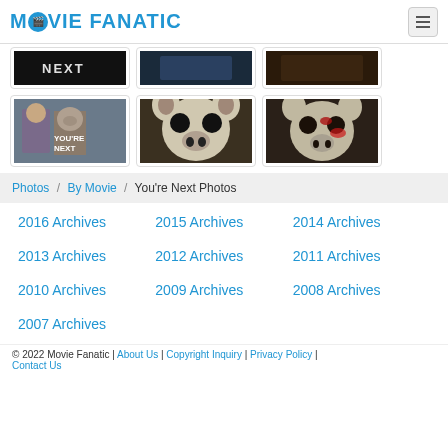MOVIE FANATIC
[Figure (photo): Row of movie photo thumbnails - partially cropped at top, showing text NEXT and dark images]
[Figure (photo): Row of three movie photo thumbnails from You're Next - pig mask images]
Photos / By Movie / You're Next Photos
2016 Archives
2015 Archives
2014 Archives
2013 Archives
2012 Archives
2011 Archives
2010 Archives
2009 Archives
2008 Archives
2007 Archives
© 2022 Movie Fanatic | About Us | Copyright Inquiry | Privacy Policy | Contact Us